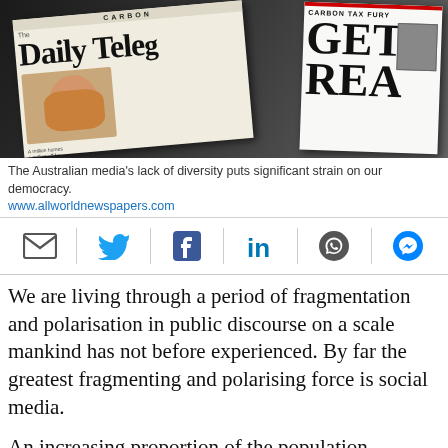[Figure (photo): Photograph of Australian newspaper front pages including The Daily Telegraph with a carbon tax headline and another newspaper with 'CARBON TAX FURY GET REAL' headline, against a dark background.]
The Australian media's lack of diversity puts significant strain on our democracy.
www.allworldnewspapers.com
[Figure (infographic): Social media sharing icons bar: email (envelope), Twitter (bird), Facebook (f), LinkedIn (in), WhatsApp (phone), Messenger (lightning bolt)]
We are living through a period of fragmentation and polarisation in public discourse on a scale mankind has not before experienced. By far the greatest fragmenting and polarising force is social media.
An increasing proportion of the population, especially those under 40, get their news from social media, overwhelmingly from Facebook. The algorithms that tailor what Facebook prioritises for each individual allow users to choose only those topics or opinions that they want to hear. This has